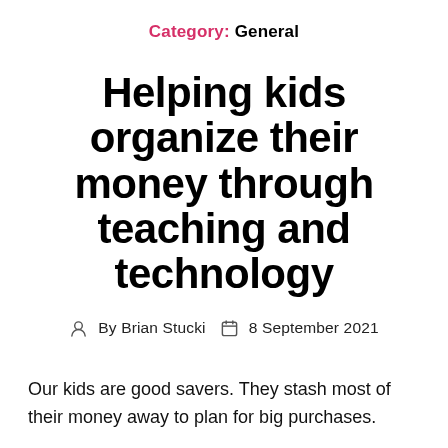Category: General
Helping kids organize their money through teaching and technology
By Brian Stucki   8 September 2021
Our kids are good savers. They stash most of their money away to plan for big purchases.
The most difficult part of this habit was trying to keep track of it all. There were random bills and coins placed